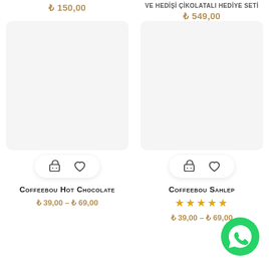₺ 150,00
VE HEDİŞİ ÇİKOLATALI HEDİYE SETİ
₺ 549,00
[Figure (screenshot): Cart and heart action button bar for left product]
[Figure (screenshot): Cart and heart action button bar for right product]
Coffeebou Hot Chocolate
₺ 39,00 – ₺ 69,00
Coffeebou Sahlep
★★★★★
₺ 39,00 – ₺ 69,00
[Figure (logo): WhatsApp green circular button icon]